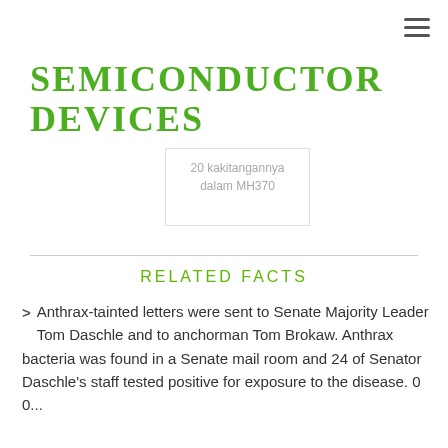SEMICONDUCTOR DEVICES
[Figure (other): Card snippet showing text: 20 kakitangannya dalam MH370]
RELATED FACTS
> Anthrax-tainted letters were sent to Senate Majority Leader Tom Daschle and to anchorman Tom Brokaw. Anthrax bacteria was found in a Senate mail room and 24 of Senator Daschle's staff tested positive for exposure to the disease. 0 0...